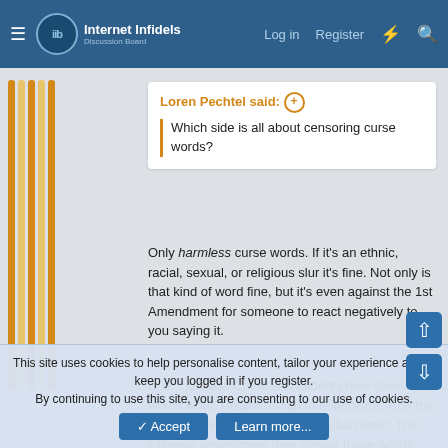Internet Infidels — Log in  Register
Loren Pechtel said: ⊕
Which side is all about censoring curse words?
Only harmless curse words. If it's an ethnic, racial, sexual, or religious slur it's fine. Not only is that kind of word fine, but it's even against the 1st Amendment for someone to react negatively to you saying it.
Ehe... just ask Chinese dissidents how censoring words work. People switch to eufemisms. And the the eufemism becomes the new bad word. The Chinese government then censor those words. This is why 18th century newspapers are so hard to understand today. In order to
This site uses cookies to help personalise content, tailor your experience and to keep you logged in if you register.
By continuing to use this site, you are consenting to our use of cookies.
Accept  Learn more...